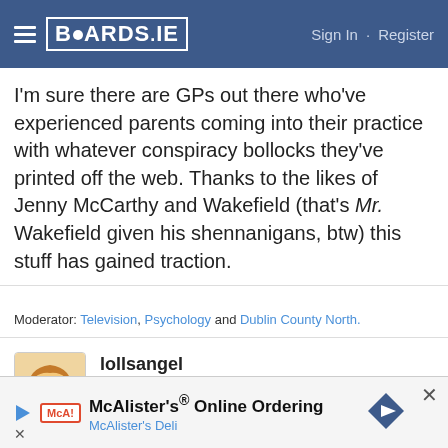BOARDS.IE  Sign In · Register
I'm sure there are GPs out there who've experienced parents coming into their practice with whatever conspiracy bollocks they've printed off the web. Thanks to the likes of Jenny McCarthy and Wakefield (that's Mr. Wakefield given his shennanigans, btw) this stuff has gained traction.
Moderator: Television, Psychology and Dublin County North.
lollsangel
Registered Users
Posts: 467  ★★
26-01-2014 11:03am
I have almost 5 year old boy girl twins. Before giving
McAlister's® Online Ordering
McAlister's Deli